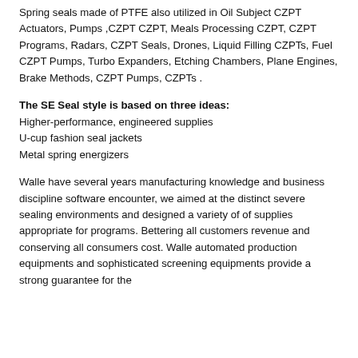Spring seals made of PTFE also utilized in Oil Subject CZPT Actuators, Pumps ,CZPT CZPT, Meals Processing CZPT, CZPT Programs, Radars, CZPT Seals, Drones, Liquid Filling CZPTs, Fuel CZPT Pumps, Turbo Expanders, Etching Chambers, Plane Engines, Brake Methods, CZPT Pumps, CZPTs .
The SE Seal style is based on three ideas:
Higher-performance, engineered supplies
U-cup fashion seal jackets
Metal spring energizers
Walle have several years manufacturing knowledge and business discipline software encounter, we aimed at the distinct severe sealing environments and designed a variety of of supplies appropriate for programs. Bettering all customers revenue and conserving all consumers cost. Walle automated production equipments and sophisticated screening equipments provide a strong guarantee for the